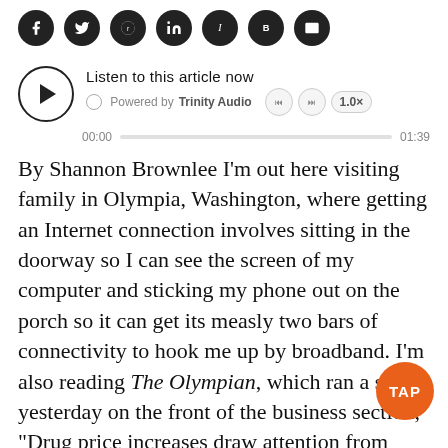[Figure (other): Row of social media sharing icons: Facebook, Twitter, Reddit, LinkedIn, Instapaper, Blogger, Email]
[Figure (other): Audio player widget: play button, 'Listen to this article now', Powered by Trinity Audio, time 00:00 / 01:39, speed 1.0x]
By Shannon Brownlee I'm out here visiting family in Olympia, Washington, where getting an Internet connection involves sitting in the doorway so I can see the screen of my computer and sticking my phone out on the porch so it can get its measly two bars of connectivity to hook me up by broadband. I'm also reading The Olympian, which ran a story yesterday on the front of the business section, "Drug price increases draw attention from lawmakers." State and federal lawmakers who are concerned about the cost of health care are considering legislation that would control drug